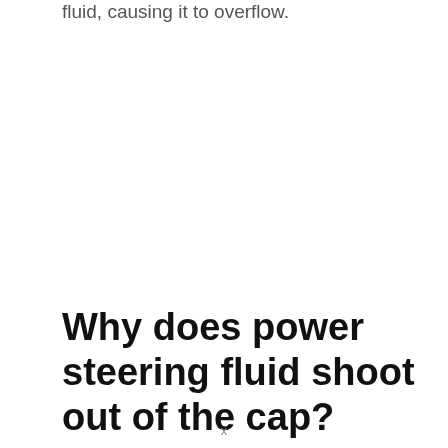fluid, causing it to overflow.
Why does power steering fluid shoot out of the cap?
x